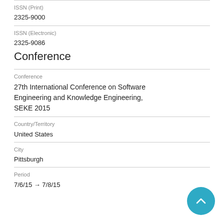ISSN (Print)
2325-9000
ISSN (Electronic)
2325-9086
Conference
Conference
27th International Conference on Software Engineering and Knowledge Engineering, SEKE 2015
Country/Territory
United States
City
Pittsburgh
Period
7/6/15 → 7/8/15